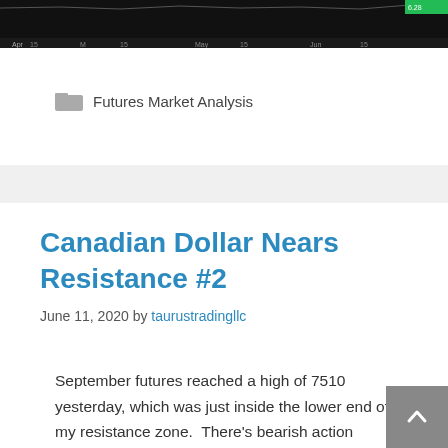[Figure (screenshot): Partial financial chart screenshot showing a dark candlestick/price chart with time axis labels (Apr, May, Jun) at the bottom, cropped at the top of the page.]
Futures Market Analysis
Canadian Dollar Nears Resistance #2
June 11, 2020 by taurustradingllc
September futures reached a high of 7510 yesterday, which was just inside the lower end of my resistance zone.  There's bearish action showing up on the 240M chart, which indicates